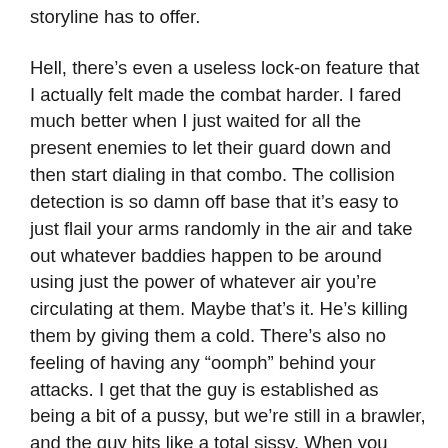storyline has to offer.
Hell, there’s even a useless lock-on feature that I actually felt made the combat harder. I fared much better when I just waited for all the present enemies to let their guard down and then start dialing in that combo. The collision detection is so damn off base that it’s easy to just flail your arms randomly in the air and take out whatever baddies happen to be around using just the power of whatever air you’re circulating at them. Maybe that’s it. He’s killing them by giving them a cold. There’s also no feeling of having any “oomph” behind your attacks. I get that the guy is established as being a bit of a pussy, but we’re still in a brawler, and the guy hits like a total sissy. When you play a good brawler, like Streets of Rage, it feels like you actually are punching people. Here, you’re just lightly poking dudes. The developer failed to make one single bit